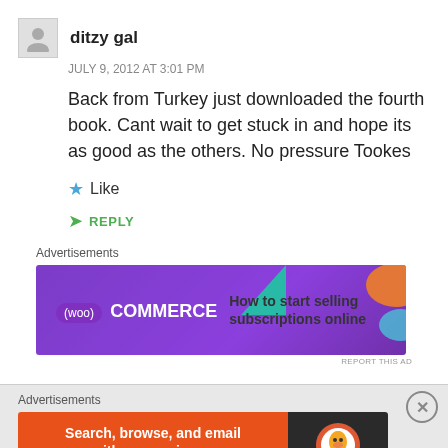ditzy gal
JULY 9, 2012 AT 3:01 PM
Back from Turkey just downloaded the fourth book. Cant wait to get stuck in and hope its as good as the others. No pressure Tookes
Like
REPLY
Advertisements
[Figure (infographic): WooCommerce advertisement banner: purple background with WooCommerce logo and text 'How to start selling subscriptions online']
REPORT THIS AD
Advertisements
[Figure (infographic): DuckDuckGo advertisement: orange background with text 'Search, browse, and email with more privacy. All in One Free App' and DuckDuckGo logo on dark background]